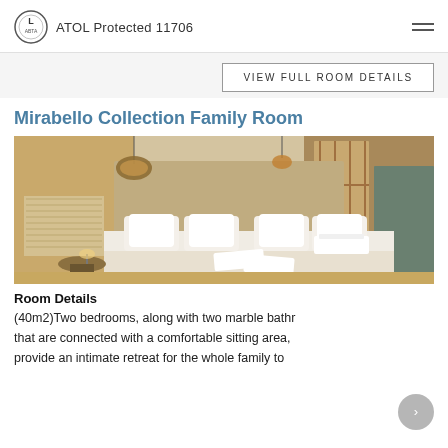ATOL Protected 11706
VIEW FULL ROOM DETAILS
Mirabello Collection Family Room
[Figure (photo): Hotel room photo showing a large bed with white linens, warm pendant lighting, wooden headboard, and marble accents in the Mirabello Collection Family Room.]
Room Details
(40m2)Two bedrooms, along with two marble bathrooms that are connected with a comfortable sitting area, provide an intimate retreat for the whole family to